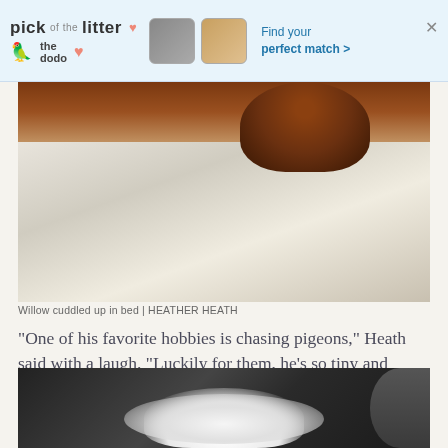[Figure (screenshot): Advertisement banner for 'pick of the litter' by The Dodo — showing pet photos and text 'Find your perfect match >']
[Figure (photo): Photo of Willow, a curly reddish-brown dog, cuddled up in bed with white pillows/sheets]
Willow cuddled up in bed | HEATHER HEATH
“One of his favorite hobbies is chasing pigeons,” Heath said with a laugh. “Luckily for them, he’s so tiny and doesn’t have any teeth so he isn’t that much of a threat.”
[Figure (photo): Photo of a small white fluffy animal (likely Willow) on a dark sofa/couch, with a person visible in the background]